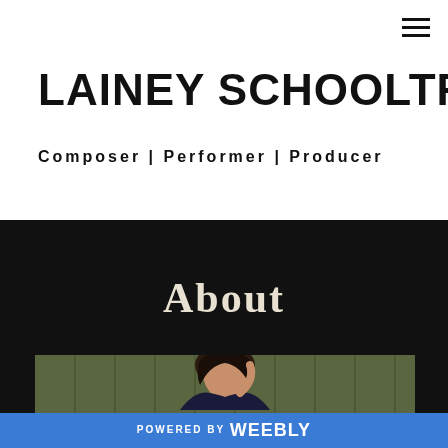≡
LAINEY SCHOOLTREE
Composer | Performer | Producer
About
[Figure (photo): Photo of a woman with dark hair against an olive green paneled wall background]
POWERED BY weebly